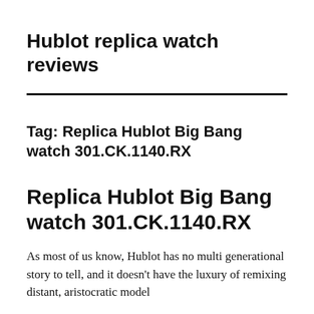Hublot replica watch reviews
Tag: Replica Hublot Big Bang watch 301.CK.1140.RX
Replica Hublot Big Bang watch 301.CK.1140.RX
As most of us know, Hublot has no multi generational story to tell, and it doesn't have the luxury of remixing distant, aristocratic model